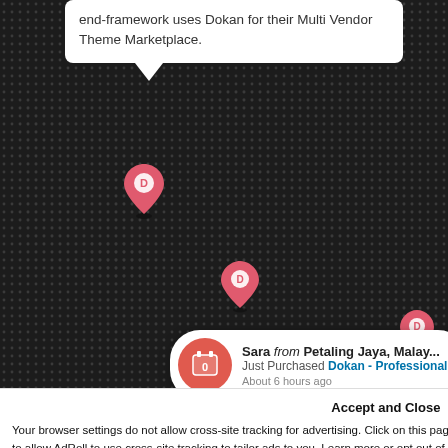end-framework uses Dokan for their Multi Vendor Theme Marketplace.
[Figure (map): Dark world map made of dot grid pattern with pink/red location pins marked with letter D]
Sara from Petaling Jaya, Malay... Just Purchased Dokan - Professional About 6 hours ago
Our site including curated rmation
Close and cont...
Accept and Close ✕
Your browser settings do not allow cross-site tracking for advertising. Click on this page to allow AdRoll to use cross-site tracking to tailor ads to you. Learn more or opt out of this AdRoll tracking by clicking here. This message only appears once.